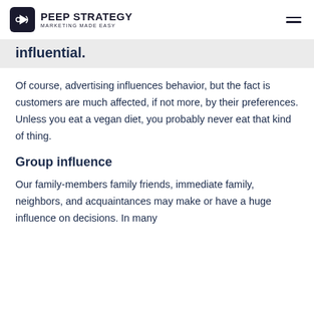PEEP STRATEGY MARKETING MADE EASY
influential.
Of course, advertising influences behavior, but the fact is customers are much affected, if not more, by their preferences. Unless you eat a vegan diet, you probably never eat that kind of thing.
Group influence
Our family-members family friends, immediate family, neighbors, and acquaintances may make or have a huge influence on decisions. In many instances, they do in a place of purchases.